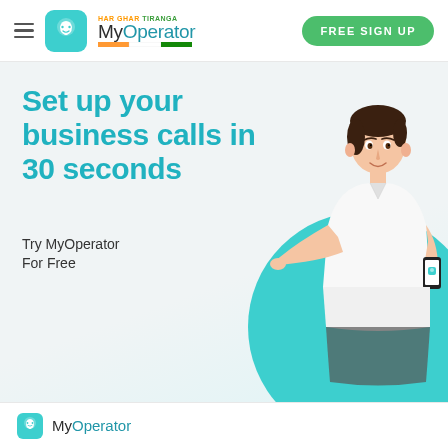[Figure (logo): MyOperator logo with phone icon, Har Ghar Tiranga tagline, tricolor bar, and Free Sign Up button in navbar]
Set up your business calls in 30 seconds
Try MyOperator
For Free
[Figure (illustration): Young man in white shirt pointing to a smartphone showing MyOperator app icon, with a teal circular background element]
Start Now
[Figure (logo): MyOperator logo with phone icon at bottom footer]